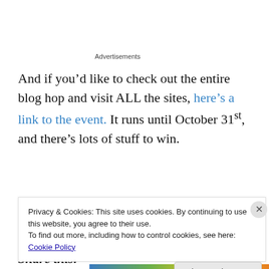Advertisements
And if you’d like to check out the entire blog hop and visit ALL the sites, here’s a link to the event. It runs until October 31st, and there’s lots of stuff to win.
Have fun, and happy Halloween!
Share this:
Privacy & Cookies: This site uses cookies. By continuing to use this website, you agree to their use.
To find out more, including how to control cookies, see here: Cookie Policy